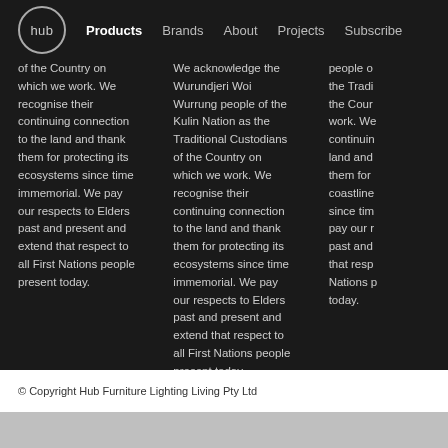hub | Products  Brands  About  Projects  Subscribe
of the Country on which we work. We recognise their continuing connection to the land and thank them for protecting its ecosystems since time immemorial. We pay our respects to Elders past and present and extend that respect to all First Nations people present today.
We acknowledge the Wurundjeri Woi Wurrung people of the Kulin Nation as the Traditional Custodians of the Country on which we work. We recognise their continuing connection to the land and thank them for protecting its ecosystems since time immemorial. We pay our respects to Elders past and present and extend that respect to all First Nations people present today.
people o the Tradi the Cour work. We continuin land and them for coastline since tim pay our r past and that resp Nations p today.
© Copyright Hub Furniture Lighting Living Pty Ltd